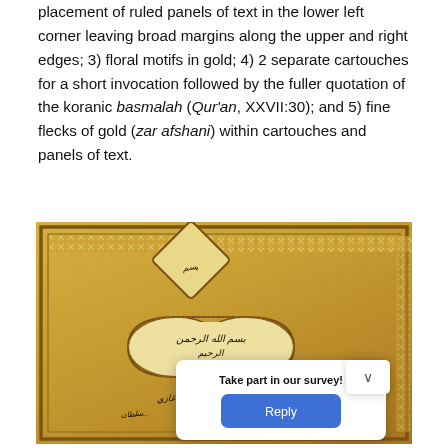placement of ruled panels of text in the lower left corner leaving broad margins along the upper and right edges; 3) floral motifs in gold; 4) 2 separate cartouches for a short invocation followed by the fuller quotation of the koranic basmalah (Qur'an, XXVII:30); and 5) fine flecks of gold (zar afshani) within cartouches and panels of text.
[Figure (photo): A photograph of an illuminated manuscript page with a golden background, featuring a diamond-shaped cartouche at the top and a double bow-tie shaped cartouche in the middle containing Arabic calligraphy (basmalah), with decorative borders and Persian/Arabic script text below. A survey popup overlay ('Take part in our survey! Reply') appears in the lower portion of the image.]